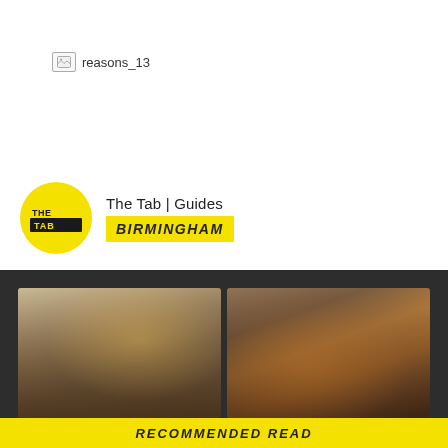[Figure (other): Broken image placeholder labeled reasons_13]
[Figure (logo): The Tab logo - circular yellow badge with THE TAB text in black, alongside header text reading 'The Tab | Guides' and a yellow badge saying 'BIRMINGHAM']
[Figure (photo): Two side-by-side interior photos on dark background: left photo shows an industrial-style lounge area with pool table and pendant lights; right photo shows a stylish living room with brown leather Chesterfield sofa, yellow armchairs, and shelving with TV. A yellow 'RECOMMENDED READ' banner appears at the bottom.]